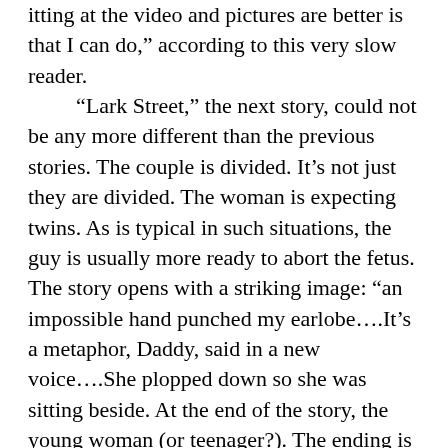itting at the video and pictures are better is that I can do," according to this very slow reader. "Lark Street," the next story, could not be any more different than the previous stories. The couple is divided. It's not just they are divided. The woman is expecting twins. As is typical in such situations, the guy is usually more ready to abort the fetus. The story opens with a striking image: "an impossible hand punched my earlobe….It's a metaphor, Daddy, said in a new voice….She plopped down so she was sitting beside. At the end of the story, the young woman (or teenager?). The ending is a stunner. "In the hospital where" describes a rather distant father-son relationship. The father is slowly dying, and to pass the time, he looks through his son's writing. "What are you reading?" the father asks. "I don't know," the son replies. (I love that line.) A moment later, the son comments, "It felt like I was announcing I was for some huge office as a Green Party candidate…His curiosity